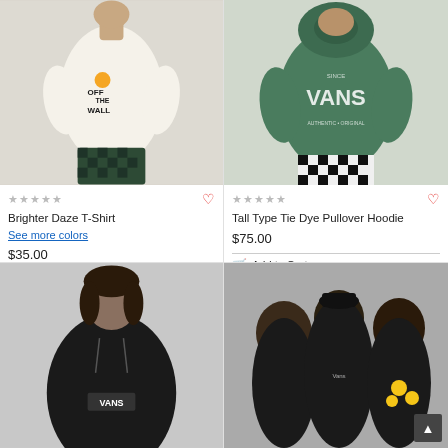[Figure (photo): Man wearing a white t-shirt with 'Off The Wall' graphic on the back, paired with dark green checkered shorts. Light grey background.]
★★★★★
Brighter Daze T-Shirt
See more colors
$35.00
Add to Cart
[Figure (photo): Man wearing a green tie-dye pullover hoodie with large 'Vans' graphic on the back, paired with black and white checkered pants. Light grey background.]
★★★★★
Tall Type Tie Dye Pullover Hoodie
$75.00
Add to Cart
[Figure (photo): Person wearing a black hoodie with Vans logo graphic, facing slightly down. Light grey background.]
[Figure (photo): Two men and a person in black hoodies, one with sunflower graphic on back. Dark background.]